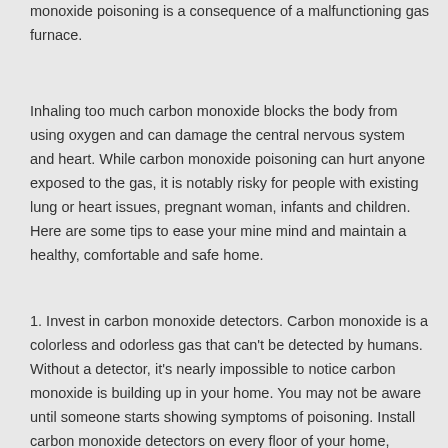monoxide poisoning is a consequence of a malfunctioning gas furnace.
Inhaling too much carbon monoxide blocks the body from using oxygen and can damage the central nervous system and heart. While carbon monoxide poisoning can hurt anyone exposed to the gas, it is notably risky for people with existing lung or heart issues, pregnant woman, infants and children. Here are some tips to ease your mine mind and maintain a healthy, comfortable and safe home.
1. Invest in carbon monoxide detectors. Carbon monoxide is a colorless and odorless gas that can't be detected by humans. Without a detector, it's nearly impossible to notice carbon monoxide is building up in your home. You may not be aware until someone starts showing symptoms of poisoning. Install carbon monoxide detectors on every floor of your home, ideally near bedrooms, to be